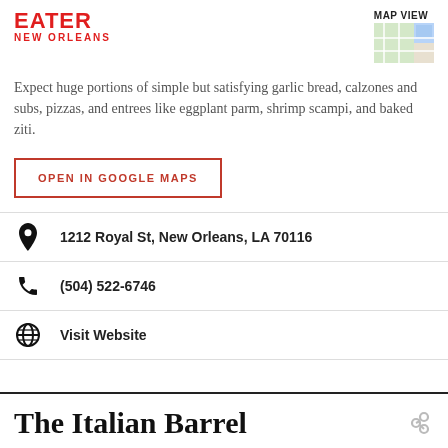EATER NEW ORLEANS
Expect huge portions of simple but satisfying garlic bread, calzones and subs, pizzas, and entrees like eggplant parm, shrimp scampi, and baked ziti.
OPEN IN GOOGLE MAPS
1212 Royal St, New Orleans, LA 70116
(504) 522-6746
Visit Website
The Italian Barrel
Try a negroni — they are excellent here — and enjoy the Italian Barrel's Northern Italian accent just steps from the French Market. The menu is pricey but never disappoints, with dishes like veal meatballs in red sauce, penne a la